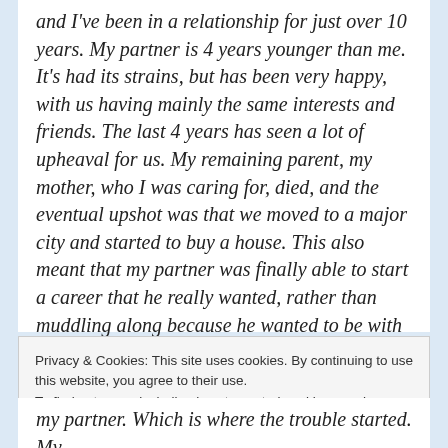and I've been in a relationship for just over 10 years. My partner is 4 years younger than me. It's had its strains, but has been very happy, with us having mainly the same interests and friends. The last 4 years has seen a lot of upheaval for us. My remaining parent, my mother, who I was caring for, died, and the eventual upshot was that we moved to a major city and started to buy a house. This also meant that my partner was finally able to start a career that he really wanted, rather than muddling along because he wanted to be with me, even if it meant being in a place with few suitable jobs.
Privacy & Cookies: This site uses cookies. By continuing to use this website, you agree to their use.
To find out more, including how to control cookies, see here: Cookie Policy
Close and accept
my partner. Which is where the trouble started. My